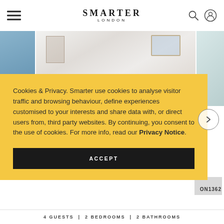SMARTER LONDON
[Figure (photo): Website screenshot showing a property listing with interior photos of a bright room with skylight windows]
Cookies & Privacy. Smarter use cookies to analyse visitor traffic and browsing behaviour, define experiences customised to your interests and share data with, or direct users from, third party websites. By continuing, you consent to the use of cookies. For more info, read our Privacy Notice.
ACCEPT
ON1362
4 GUESTS | 2 BEDROOMS | 2 BATHROOMS